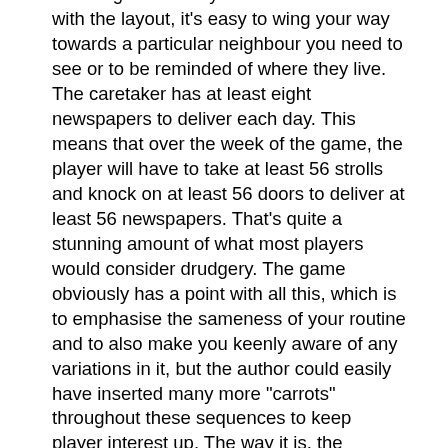meaning that once you're a little familiar with the layout, it's easy to wing your way towards a particular neighbour you need to see or to be reminded of where they live. The caretaker has at least eight newspapers to deliver each day. This means that over the week of the game, the player will have to take at least 56 strolls and knock on at least 56 doors to deliver at least 56 newspapers. That's quite a stunning amount of what most players would consider drudgery. The game obviously has a point with all this, which is to emphasise the sameness of your routine and to also make you keenly aware of any variations in it, but the author could easily have inserted many more "carrots" throughout these sequences to keep player interest up. The way it is, the neighbours say and do the same things in response to your rounds almost every day, and their requests that you run errands for them or repair their broken watches and such are relatively scarce.